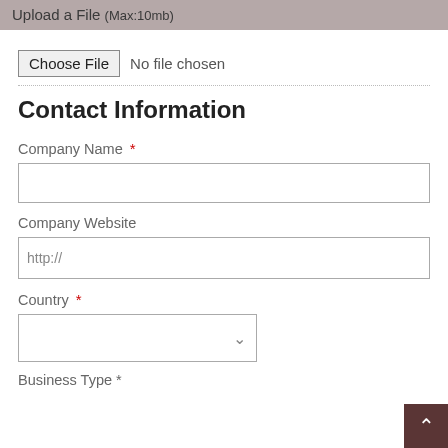Upload a File (Max:10mb)
Choose File  No file chosen
Contact Information
Company Name *
Company Website
http://
Country *
Business Type *